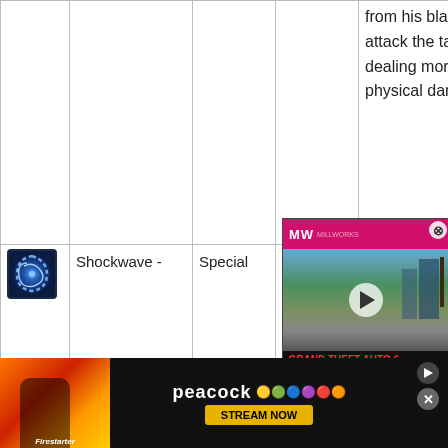| Icon | Name | Type | CD | Description |
| --- | --- | --- | --- | --- |
|  |  |  |  | from his blade to attack the target, dealing mor physical damage. |
| [shockwave icon] | Shockwave - | Special | 14 | Edan slashes... sonic shockwave ... nward a ... degree |
[Figure (screenshot): Video ad overlay showing Grand Theft Auto 6 - Everything We Know, with MW logo in pink header and city background with play button]
[Figure (screenshot): Peacock streaming service ad banner at bottom with Firestarter movie promotional image on left]